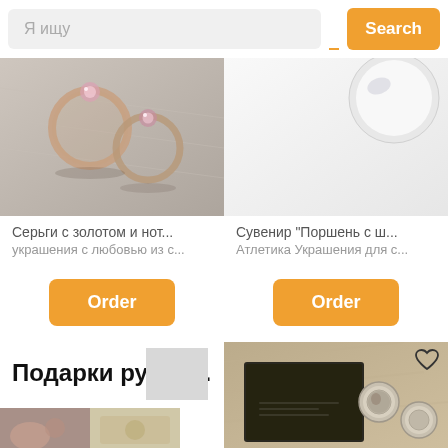[Figure (screenshot): Search bar UI with text input field showing 'Я ищу' placeholder and orange 'Search' button]
[Figure (photo): Photo of pink/rose gold glittery rings on silver fabric - product image for earrings]
[Figure (photo): Photo of white/silver object on white background - souvenir product image]
Серьги с золотом и нот...
украшения с любовью из с...
Сувенир "Поршень с ш...
Атлетика Украшения для с...
[Figure (screenshot): Orange 'Order' button for first product]
[Figure (screenshot): Orange 'Order' button for second product]
[Figure (photo): Placeholder gray rectangle]
Подарки ручно...
[Figure (photo): Photo of dark leather journal/notebook with silver cufflinks and decorative items on textured fabric background with heart icon]
[Figure (photo): Two small product thumbnail images at bottom left]